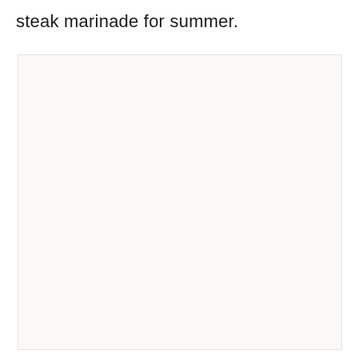steak marinade for summer.
[Figure (photo): A large light beige/off-white rectangular image placeholder area, mostly empty with a very light warm background color.]